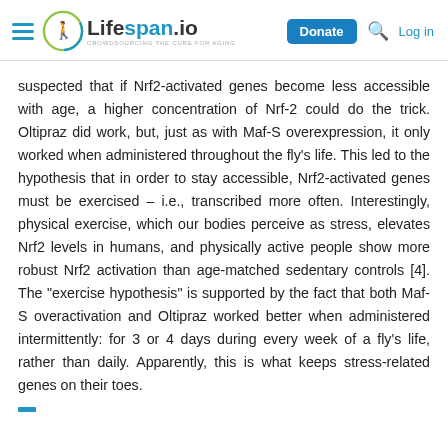Lifespan.io — CROWDSOURCING THE CURE FOR AGING — Donate | Log in
suspected that if Nrf2-activated genes become less accessible with age, a higher concentration of Nrf-2 could do the trick. Oltipraz did work, but, just as with Maf-S overexpression, it only worked when administered throughout the fly’s life. This led to the hypothesis that in order to stay accessible, Nrf2-activated genes must be exercised – i.e., transcribed more often. Interestingly, physical exercise, which our bodies perceive as stress, elevates Nrf2 levels in humans, and physically active people show more robust Nrf2 activation than age-matched sedentary controls [4]. The “exercise hypothesis” is supported by the fact that both Maf-S overactivation and Oltipraz worked better when administered intermittently: for 3 or 4 days during every week of a fly’s life, rather than daily. Apparently, this is what keeps stress-related genes on their toes.